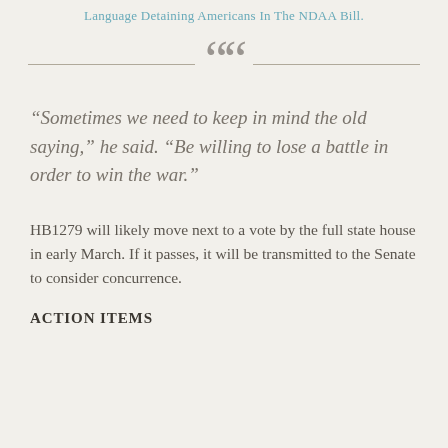Language Detaining Americans In The NDAA Bill.
“Sometimes we need to keep in mind the old saying,” he said. “Be willing to lose a battle in order to win the war.”
HB1279 will likely move next to a vote by the full state house in early March. If it passes, it will be transmitted to the Senate to consider concurrence.
ACTION ITEMS